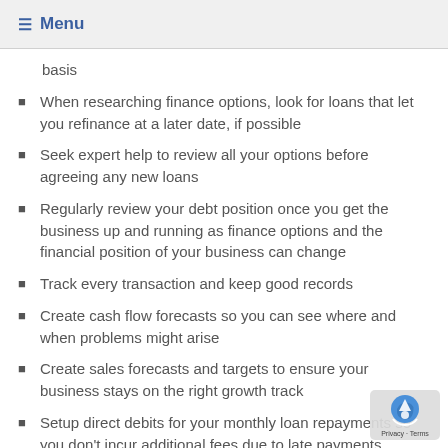☰ Menu
basis
When researching finance options, look for loans that let you refinance at a later date, if possible
Seek expert help to review all your options before agreeing any new loans
Regularly review your debt position once you get the business up and running as finance options and the financial position of your business can change
Track every transaction and keep good records
Create cash flow forecasts so you can see where and when problems might arise
Create sales forecasts and targets to ensure your business stays on the right growth track
Setup direct debits for your monthly loan repayments so you don't incur additional fees due to late payments
Use accounting and payroll software to speed up the process of doing accounts and managing payroll, and to reduce e…
Manage tax properly by, for example, getting your returns in by the Revenue's deadlines and ensuring you pay the rig…